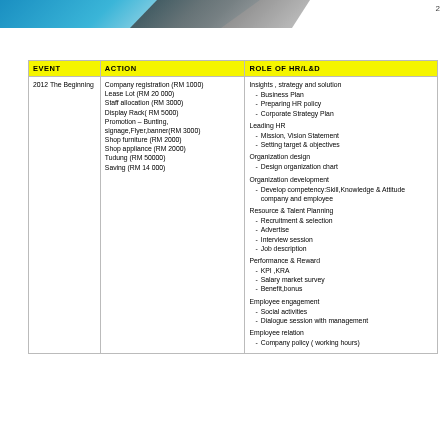2
| EVENT | ACTION | ROLE OF HR/L&D |
| --- | --- | --- |
| 2012 The Beginning | Company registration (RM 1000)
Lease Lot (RM 20 000)
Staff allocation (RM 3000)
Display Rack( RM 5000)
Promotion – Bunting, signage,Flyer,banner(RM 3000)
Shop furniture (RM 2000)
Shop appliance (RM 2000)
Tudung (RM 50000)
Saving (RM 14 000) | Insights , strategy and solution
- Business Plan
- Preparing HR policy
- Corporate Strategy Plan
Leading HR
- Mission, Vision Statement
- Setting target & objectives
Organization design
- Design organization chart
Organization development
- Develop competency:Skill,Knowledge & Attitude company and employee
Resource & Talent Planning
- Recruitment & selection
- Advertise
- Interview session
- Job description
Performance & Reward
- KPI ,KRA
- Salary market survey
- Benefit,bonus
Employee engagement
- Social activities
- Dialogue session with management
Employee relation
- Company policy ( working hours) |